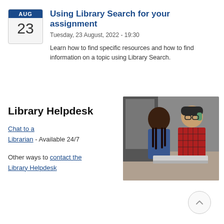[Figure (other): Calendar icon showing AUG 23 with blue header and light grey body]
Using Library Search for your assignment
Tuesday, 23 August, 2022 - 19:30
Learn how to find specific resources and how to find information on a topic using Library Search.
Library Helpdesk
Chat to a Librarian - Available 24/7
Other ways to contact the Library Helpdesk
[Figure (photo): Two women working together at a computer; one has braids and wears a patterned top, the other has glasses and wears a red plaid shirt.]